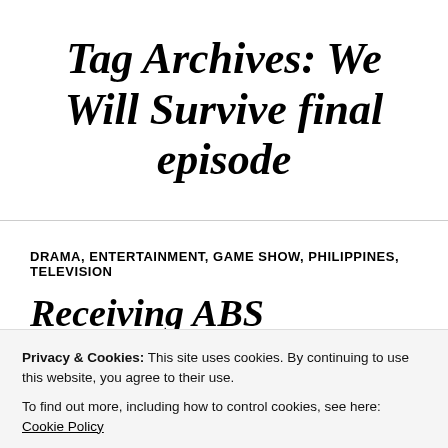Tag Archives: We Will Survive final episode
DRAMA, ENTERTAINMENT, GAME SHOW, PHILIPPINES, TELEVISION
Receiving ABS
Privacy & Cookies: This site uses cookies. By continuing to use this website, you agree to their use.
To find out more, including how to control cookies, see here: Cookie Policy
JULY 12, 2018 | RALPHIERCE | 2018 NBA FINALS, 2016 NBA FINALS ON